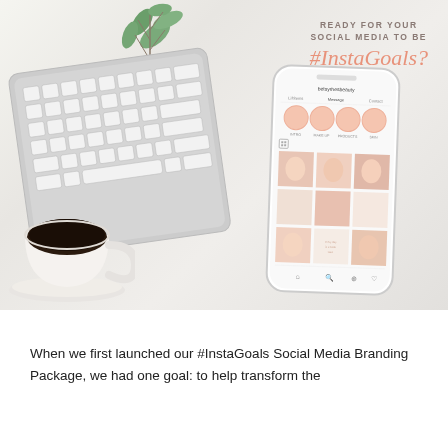[Figure (photo): Flat lay photo on marble surface featuring a white keyboard (top left), a white coffee cup with dark coffee (bottom left), green eucalyptus leaves (top center), and a smartphone showing an Instagram profile page with beauty content and a pink/peach aesthetic. Overlaid text reads 'READY FOR YOUR SOCIAL MEDIA TO BE #InstaGoals?' in a mix of gray serif and coral script fonts.]
When we first launched our #InstaGoals Social Media Branding Package, we had one goal: to help transform the